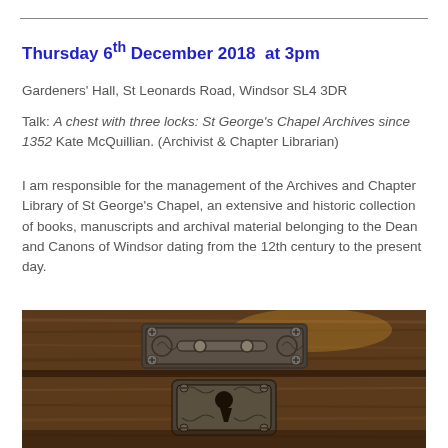Thursday 6th December 2018  at 3pm
Gardeners' Hall, St Leonards Road, Windsor SL4 3DR
Talk: A chest with three locks: St George's Chapel Archives since 1352 Kate McQuillian. (Archivist & Chapter Librarian)
I am responsible for the management of the Archives and Chapter Library of St George's Chapel, an extensive and historic collection of books, manuscripts and archival material belonging to the Dean and Canons of Windsor dating from the 12th century to the present day.
[Figure (photo): Close-up photograph of an ornate antique metal lock mechanism on a wooden chest, showing decorative scrollwork, screws, bolts, and a keyhole on aged dark wood.]